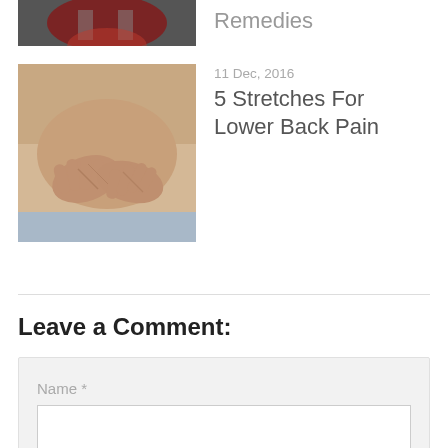[Figure (photo): Partial view of a medical/health article thumbnail at top, cropped, showing red anatomy image]
Remedies
[Figure (photo): Hands pressing on lower back, indicating back pain]
11 Dec, 2016
5 Stretches For Lower Back Pain
Leave a Comment:
Name *